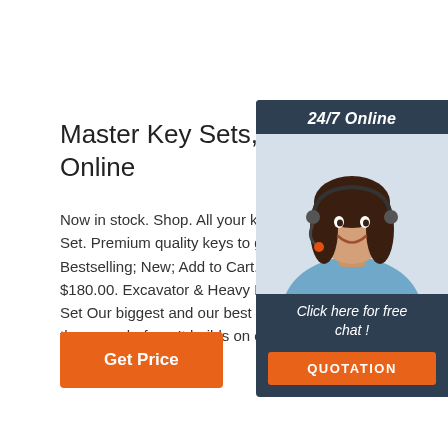Master Key Sets, Machine Ke... Online
Now in stock. Shop. All your keys. All in one s... Set. Premium quality keys to get you moving ... Bestselling; New; Add to Cart. 60 Key Master ... $180.00. Excavator & Heavy Machinery 60 Ke... Set Our biggest and our best set so far, with m... than ever before. It builds on our 25 key set a... extra 35 keys to keep ...
[Figure (photo): Chat widget with woman wearing headset, '24/7 Online' header, 'Click here for free chat!' text, and orange QUOTATION button]
Get Price